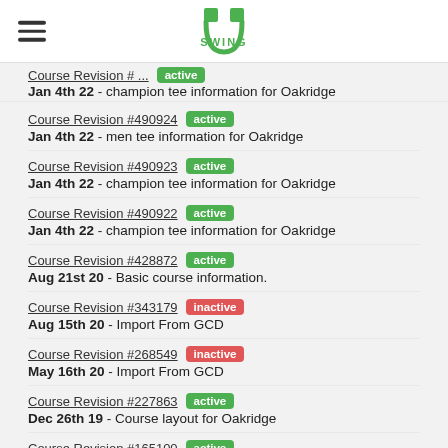SwingU logo with hamburger menu
Course Revision #490924 active - Jan 4th 22 - men tee information for Oakridge
Course Revision #490923 active - Jan 4th 22 - champion tee information for Oakridge
Course Revision #490922 active - Jan 4th 22 - champion tee information for Oakridge
Course Revision #428872 active - Aug 21st 20 - Basic course information.
Course Revision #343179 inactive - Aug 15th 20 - Import From GCD
Course Revision #268549 inactive - May 16th 20 - Import From GCD
Course Revision #227863 active - Dec 26th 19 - Course layout for Oakridge
Course Revision #165100 active - Nov 26th 18 - Course layout for Oakridge